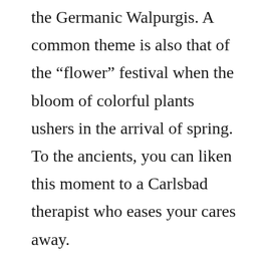the Germanic Walpurgis. A common theme is also that of the “flower” festival when the bloom of colorful plants ushers in the arrival of spring. To the ancients, you can liken this moment to a Carlsbad therapist who eases your cares away.
In the countries that continue to celebrate a more ancient form of the festival, particularly in the English territories, rites and celebrations using the Maypole and other similar traditional artifacts continue to